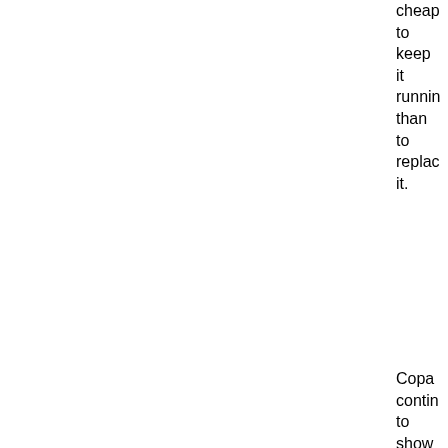cheap to keep it running than to replace it.
Copart continues to show good technical strength, a solid record of underlying fundamentals and is the kind of